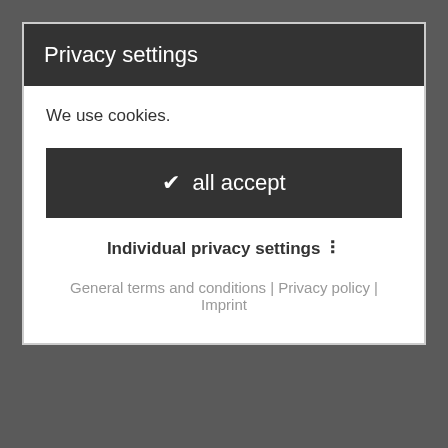Privacy settings
We use cookies.
✔ all accept
Individual privacy settings ❯
General terms and conditions | Privacy policy | Imprint